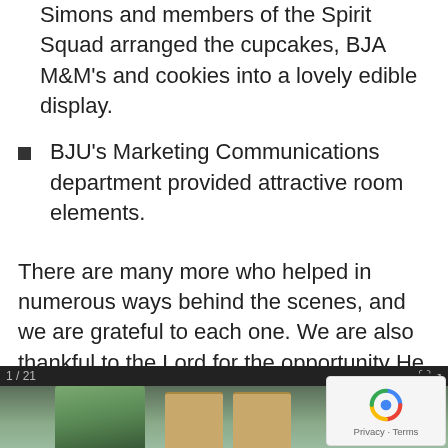Simons and members of the Spirit Squad arranged the cupcakes, BJA M&M's and cookies into a lovely edible display.
BJU's Marketing Communications department provided attractive room elements.
There are many more who helped in numerous ways behind the scenes, and we are grateful to each one. We are also thankful to the Lord for the opportunity He has given us both to serve at BJA and to share with others what He is doing here.
[Figure (photo): A photo gallery thumbnail strip showing a person standing outdoors near a tree, and two wooden doors. Label shows '1/21' and expand icons are visible.]